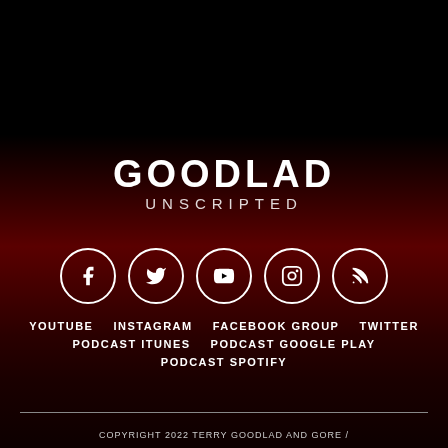[Figure (logo): GOODLAD UNSCRIPTED podcast logo in white text on dark background]
[Figure (infographic): Five social media icon circles: Facebook, Twitter, YouTube, Instagram, RSS]
YOUTUBE   INSTAGRAM   FACEBOOK GROUP   TWITTER
PODCAST ITUNES   PODCAST GOOGLE PLAY
PODCAST SPOTIFY
COPYRIGHT 2022 TERRY GOODLAD AND GORE /